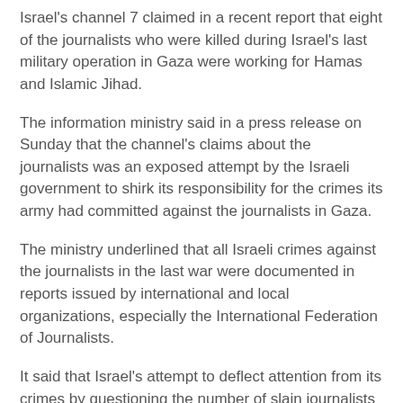Israel's channel 7 claimed in a recent report that eight of the journalists who were killed during Israel's last military operation in Gaza were working for Hamas and Islamic Jihad.
The information ministry said in a press release on Sunday that the channel's claims about the journalists was an exposed attempt by the Israeli government to shirk its responsibility for the crimes its army had committed against the journalists in Gaza.
The ministry underlined that all Israeli crimes against the journalists in the last war were documented in reports issued by international and local organizations, especially the International Federation of Journalists.
It said that Israel's attempt to deflect attention from its crimes by questioning the number of slain journalists and their professional activities could not deceive the UN probe committee or the international community.
15 feb 2015
AP Investigation: 89% of "Protective Edge" Victims Were